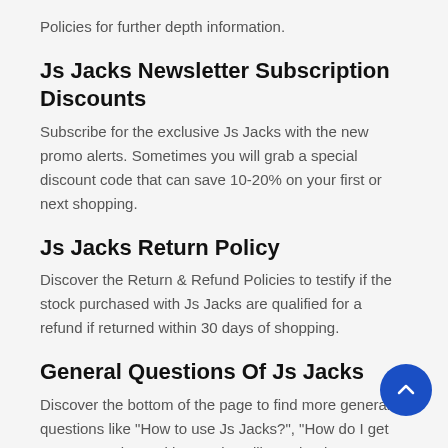Policies for further depth information.
Js Jacks Newsletter Subscription Discounts
Subscribe for the exclusive Js Jacks with the new promo alerts. Sometimes you will grab a special discount code that can save 10-20% on your first or next shopping.
Js Jacks Return Policy
Discover the Return & Refund Policies to testify if the stock purchased with Js Jacks are qualified for a refund if returned within 30 days of shopping.
General Questions Of Js Jacks
Discover the bottom of the page to find more general questions like "How to use Js Jacks?", "How do I get more Js Jacks?" with questions like "Why does Js Jacks not work?", to name a few.